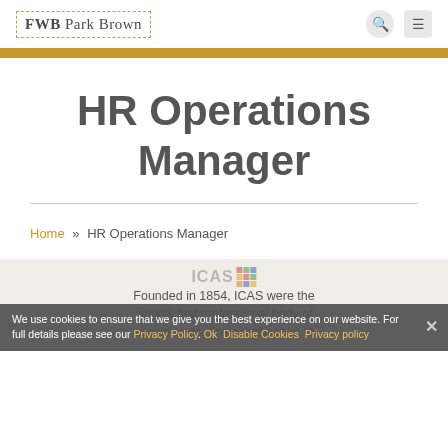FWB Park Brown
HR Operations Manager
Home » HR Operations Manager
[Figure (logo): ICAS logo with colored grid of squares]
Founded in 1854, ICAS were the world's first professional body of accountants. From digitisation to
We use cookies to ensure that we give you the best experience on our website. For full details please see our Privacy Policy. Ok  Disable Cookies  Privacy policy